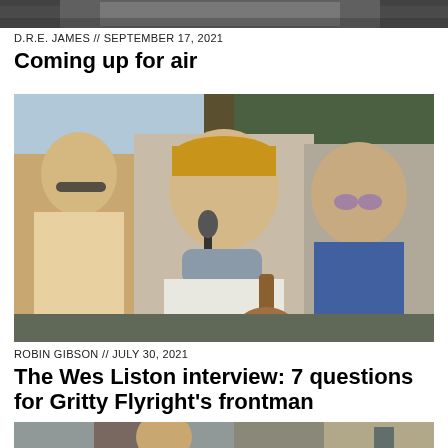[Figure (photo): Partial top of a photo, cropped at the top of the page]
D.R.E. JAMES // SEPTEMBER 17, 2021
Coming up for air
[Figure (photo): Three musicians playing outdoors, center man singing into microphone wearing tan cap and white shirt with neck gaiter, flanked by two other musicians with guitars]
ROBIN GIBSON // JULY 30, 2021
The Wes Liston interview: 7 questions for Gritty Flyright's frontman
[Figure (photo): Partial bottom photo showing a man looking at camera, partially cropped]